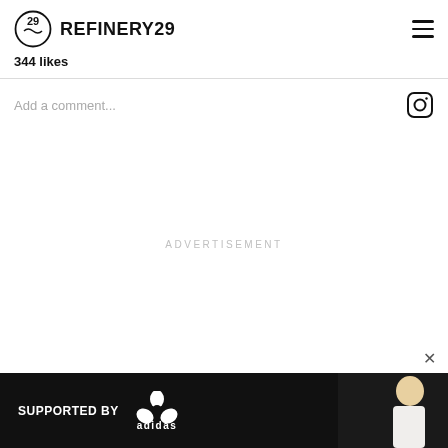REFINERY29
344 likes
Add a comment...
ADVERTISEMENT
[Figure (screenshot): Adidas advertisement banner at bottom of screen, dark background with 'SUPPORTED BY adidas' text and person in light jersey]
SUPPORTED BY adidas